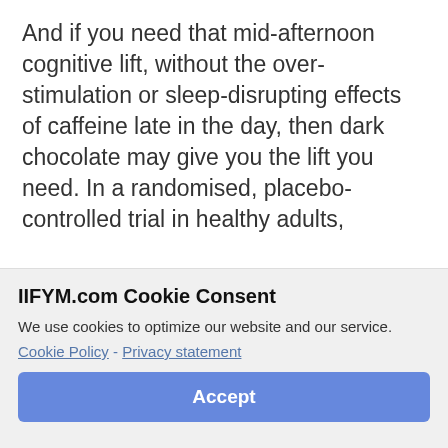And if you need that mid-afternoon cognitive lift, without the over-stimulation or sleep-disrupting effects of caffeine late in the day, then dark chocolate may give you the lift you need. In a randomised, placebo-controlled trial in healthy adults,
IIFYM.com Cookie Consent
We use cookies to optimize our website and our service.
Cookie Policy - Privacy statement
Accept